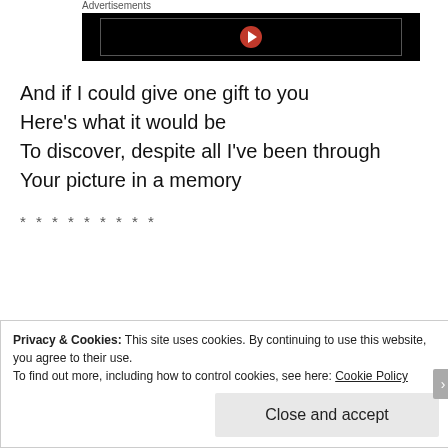Advertisements
[Figure (screenshot): Advertisement banner with black background, inner bordered rectangle with a red circular play button icon in the center]
And if I could give one gift to you
Here’s what it would be
To discover, despite all I’ve been through
Your picture in a memory
* * * * * * * * *
Privacy & Cookies: This site uses cookies. By continuing to use this website, you agree to their use.
To find out more, including how to control cookies, see here: Cookie Policy
Close and accept